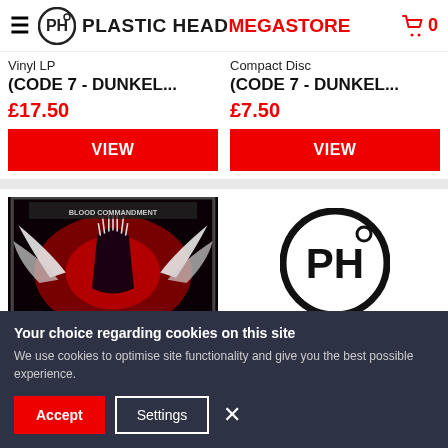PLASTIC HEAD MEGASTORE
Vinyl LP
(CODE 7 - DUNKEL...
£17.50
Compact Disc
(CODE 7 - DUNKEL...
£7.50
[Figure (screenshot): Album art for a metal record — dark illustration with a winged creature against a red background]
[Figure (logo): Plastic Head logo — circular PH monogram in black and white]
Your choice regarding cookies on this site
We use cookies to optimise site functionality and give you the best possible experience.